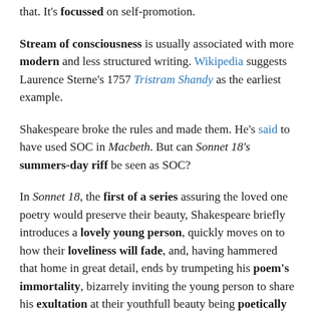that. It's focussed on self-promotion.
Stream of consciousness is usually associated with more modern and less structured writing. Wikipedia suggests Laurence Sterne's 1757 Tristram Shandy as the earliest example.
Shakespeare broke the rules and made them. He's said to have used SOC in Macbeth. But can Sonnet 18's summers-day riff be seen as SOC?
In Sonnet 18, the first of a series assuring the loved one poetry would preserve their beauty, Shakespeare briefly introduces a lovely young person, quickly moves on to how their loveliness will fade, and, having hammered that home in great detail, ends by trumpeting his poem's immortality, bizarrely inviting the young person to share his exultation at their youthfull beauty being poetically embalmed.